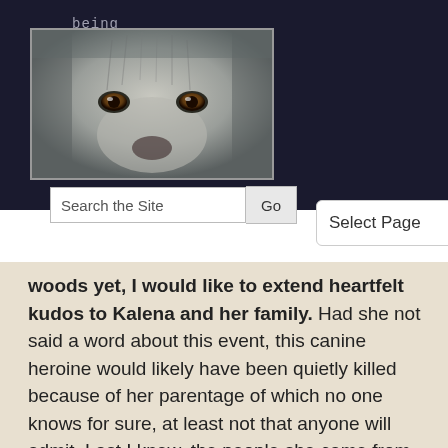being stray ...
[Figure (photo): Close-up photo of a grey/white shaggy dog face with brown eyes, filling the frame]
Search the Site   Go   Select Page
woods yet, I would like to extend heartfelt kudos to Kalena and her family. Had she not said a word about this event, this canine heroine would likely have been quietly killed because of her parentage of which no one knows for sure, at least not that anyone will admit. Last I knew, the people she came from have not stepped up in her defense.
Please take the time to educate yourself about the true evil of BSL